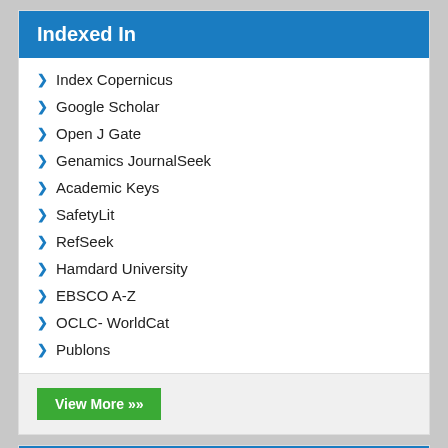Indexed In
Index Copernicus
Google Scholar
Open J Gate
Genamics JournalSeek
Academic Keys
SafetyLit
RefSeek
Hamdard University
EBSCO A-Z
OCLC- WorldCat
Publons
View More »
Useful Links
Aim and Scope